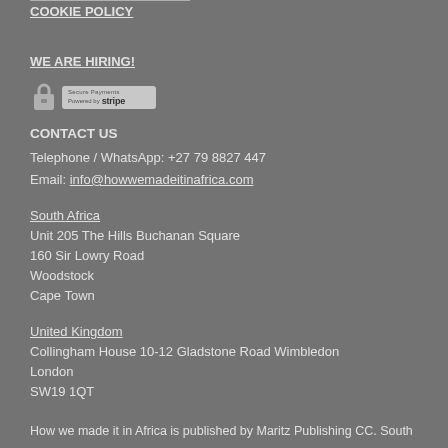COOKIE POLICY
WE ARE HIRING!
[Figure (logo): Secure Payments badge with padlock icon and Stripe logo]
CONTACT US
Telephone / WhatsApp: +27 79 8827 447
Email: info@howwemadeitinafrica.com
South Africa
Unit 205 The Hills Buchanan Square
160 Sir Lowry Road
Woodstock
Cape Town
United Kingdom
Collingham House 10-12 Gladstone Road Wimbledon
London
SW19 1QT
How we made it in Africa is published by Maritz Publishing CC. South